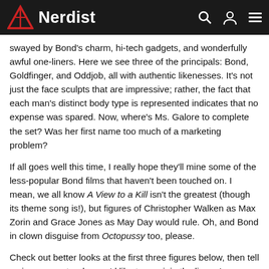Nerdist
swayed by Bond's charm, hi-tech gadgets, and wonderfully awful one-liners. Here we see three of the principals: Bond, Goldfinger, and Oddjob, all with authentic likenesses. It's not just the face sculpts that are impressive; rather, the fact that each man's distinct body type is represented indicates that no expense was spared. Now, where's Ms. Galore to complete the set? Was her first name too much of a marketing problem?
If all goes well this time, I really hope they'll mine some of the less-popular Bond films that haven't been touched on. I mean, we all know A View to a Kill isn't the greatest (though its theme song is!), but figures of Christopher Walken as Max Zorin and Grace Jones as May Day would rule. Oh, and Bond in clown disguise from Octopussy too, please.
Check out better looks at the first three figures below, then tell us in comments who you'd like to see join the lineup!
Images: Big Chief Studios